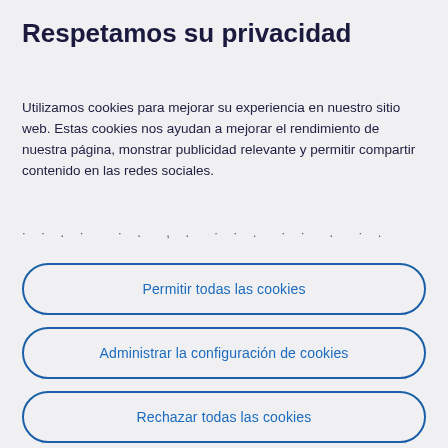Respetamos su privacidad
Utilizamos cookies para mejorar su experiencia en nuestro sitio web. Estas cookies nos ayudan a mejorar el rendimiento de nuestra página, monstrar publicidad relevante y permitir compartir contenido en las redes sociales.
· · . · · . , . · · . · · . · .
Permitir todas las cookies
Administrar la configuración de cookies
Rechazar todas las cookies